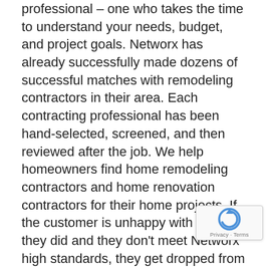professional – one who takes the time to understand your needs, budget, and project goals. Networx has already successfully made dozens of successful matches with remodeling contractors in their area. Each contracting professional has been hand-selected, screened, and then reviewed after the job. We help homeowners find home remodeling contractors and home renovation contractors for their home projects. If the customer is unhappy with the job they did and they don't meet Networx high standards, they get dropped from the site. This ensures that the people of Marionville only receive the very best work and customer service. Wondering how to get started? Enter your zip code and we'll instantly match you with dozens of remodeling contractors in your area. From there, you select the bid, and they get to work. Looking for remodeling contractors near me? Easy. Let us connect you with opportunities for home remodeling near me.
Remodeling Pros of Marionville
Those who join the Networx team are already established professionals in Marionville with a track record for honesty